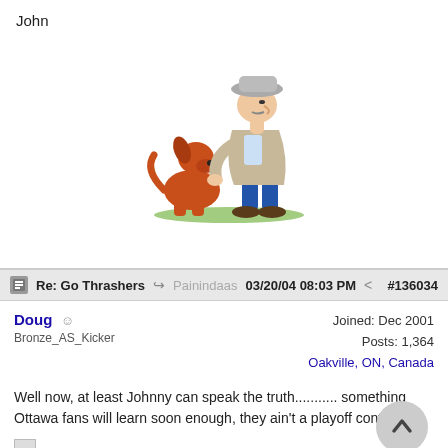John
[Figure (illustration): Cartoon of an old man in a hat and trench coat bending over to interact with a small brown dog sitting on its haunches]
Re: Go Thrashers   Painindaas   03/20/04 08:03 PM   #136034
Doug  Bronze_AS_Kicker
Joined: Dec 2001
Posts: 1,364
Oakville, ON, Canada
Well now, at least Johnny can speak the truth........... something Ottawa fans will learn soon enough, they ain't a playoff contender!